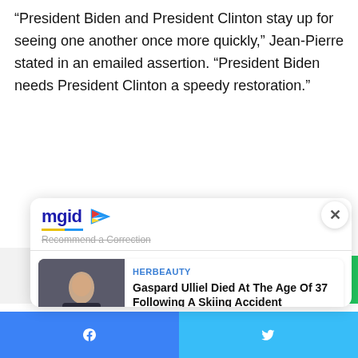“President Biden and President Clinton stay up for seeing one another once more quickly,” Jean-Pierre stated in an emailed assertion. “President Biden needs President Clinton a speedy restoration.”
[Figure (screenshot): MGID ad widget overlay with close button, showing two sponsored content cards from HERBEAUTY: 'Gaspard Ulliel Died At The Age Of 37 Following A Skiing Accident' and 'Here Are All The Non-Marriage Material Men To Steer Clear Of', with a Recommend a Correction link and MGID logo.]
Facebook share button | Twitter share button